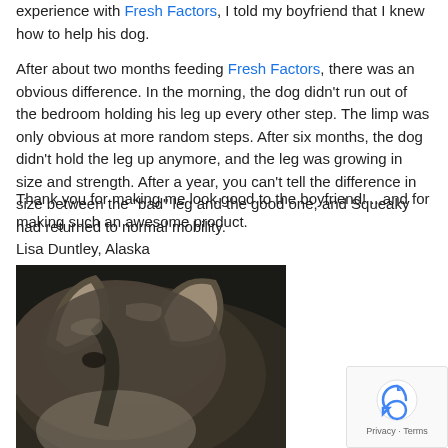experience with Fresh Factors, I told my boyfriend that I knew how to help his dog.
After about two months feeding Fresh Factors, there was an obvious difference. In the morning, the dog didn't run out of the bedroom holding his leg up every other step. The limp was only obvious at more random steps. After six months, the dog didn't hold the leg up anymore, and the leg was growing in size and strength. After a year, you can't tell the difference in size between the "bad" leg and the good one, and Squeaky had returned to normal mobility.
Thank you for making me look good to the boyfriend! ...and for making such an awesome product.
Lisa Duntley, Alaska
[Figure (photo): Close-up photograph of a gray/husky-type dog's face and ears from above, dark fur with lighter highlights around the ears]